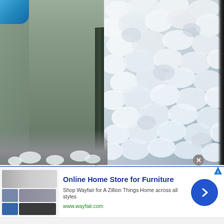[Figure (photo): Close-up photo showing large chunks of hail or foam/ice accumulated against the base of a wall or door. Left side shows a pale green/gray wall or door panel with dark corner joint and some hail on the ground. Right side shows a dense pile of large white hail chunks or foam pieces. Top-left corner shows a small blue object.]
[Figure (other): Advertisement banner for Wayfair online furniture store. Shows furniture/appliance thumbnail images on left, bold blue title 'Online Home Store for Furniture', subtitle 'Shop Wayfair for A Zillion Things Home across all styles', green URL 'www.wayfair.com', and a blue circular arrow button on the right.]